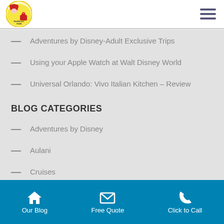[Figure (logo): Me & Mouse Town travel agency logo — circular badge with cartoon character and red bag]
Adventures by Disney-Adult Exclusive Trips
Using your Apple Watch at Walt Disney World
Universal Orlando: Vivo Italian Kitchen – Review
BLOG CATEGORIES
Adventures by Disney
Aulani
Cruises
Disneyland
Our Blog   Free Quote   Click to Call